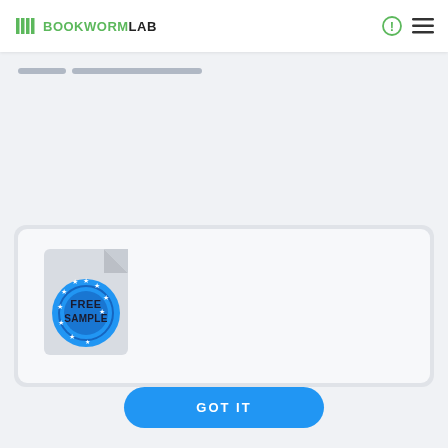BOOKWORM LAB
[Figure (screenshot): Free Sample document icon with blue circular stamp reading FREE SAMPLE with stars]
GOT IT